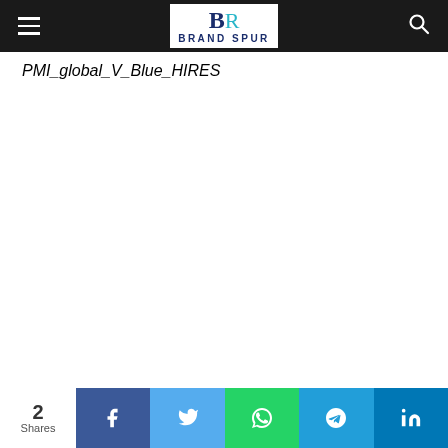Brand Spur - navigation bar with logo and search
PMI_global_V_Blue_HIRES
2 Shares | Facebook | Twitter | WhatsApp | Telegram | LinkedIn